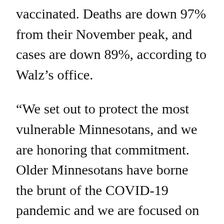vaccinated. Deaths are down 97% from their November peak, and cases are down 89%, according to Walz's office.
“We set out to protect the most vulnerable Minnesotans, and we are honoring that commitment. Older Minnesotans have borne the brunt of the COVID-19 pandemic and we are focused on making sure they get vaccinated and keeping them safe,” Walz said in a statement. “These vaccines work — we can see that in the plummeting cases, hospitalizations, and deaths in long